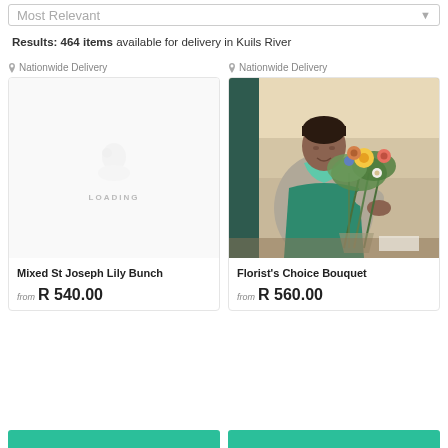Most Relevant
Results: 464 items available for delivery in Kuils River
Nationwide Delivery
[Figure (photo): Loading placeholder with flower icon and LOADING text]
Mixed St Joseph Lily Bunch
from R 540.00
Nationwide Delivery
[Figure (photo): Photo of a florist woman in teal apron arranging a colorful bouquet of flowers]
Florist's Choice Bouquet
from R 560.00